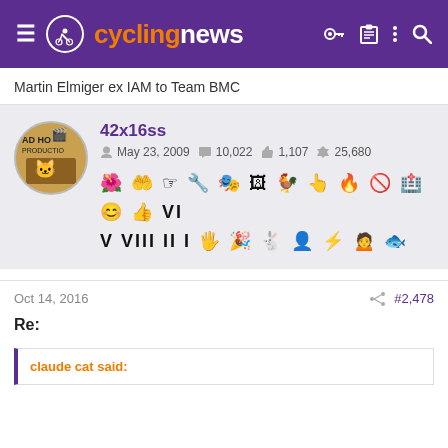cyclingnews
Martin Elmiger ex IAM to Team BMC
42x16ss — May 23, 2009 — 10,022 messages — 1,107 likes — 25,680 points — badges
Oct 14, 2016 — #2,478
Re:
claude cat said: